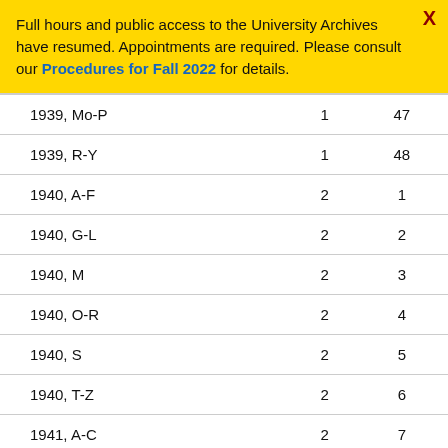Full hours and public access to the University Archives have resumed. Appointments are required. Please consult our Procedures for Fall 2022 for details.
| 1939, Mo-P | 1 | 47 |
| 1939, R-Y | 1 | 48 |
| 1940, A-F | 2 | 1 |
| 1940, G-L | 2 | 2 |
| 1940, M | 2 | 3 |
| 1940, O-R | 2 | 4 |
| 1940, S | 2 | 5 |
| 1940, T-Z | 2 | 6 |
| 1941, A-C | 2 | 7 |
| 1941, D-G | 2 | 8 |